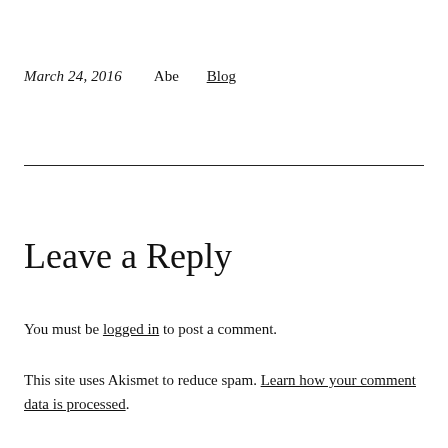March 24, 2016    Abe    Blog
Leave a Reply
You must be logged in to post a comment.
This site uses Akismet to reduce spam. Learn how your comment data is processed.